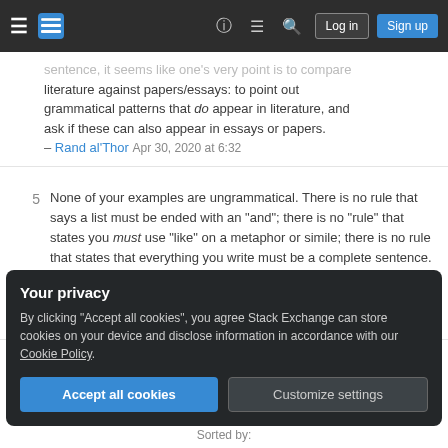Stack Exchange navigation bar with hamburger menu, logo, help, chat, search icons, Log in and Sign up buttons
sentence, it seems like one's very point is to compare literature against papers/essays: to point out grammatical patterns that do appear in literature, and ask if these can also appear in essays or papers. – Rand al'Thor Apr 30, 2020 at 6:32
5  None of your examples are ungrammatical. There is no rule that says a list must be ended with an "and"; there is no "rule" that states you must use "like" on a metaphor or simile; there is no rule that states that everything you write must be a complete sentence. Yes, those are missing verbs, so they aren't full sentences, but that does not make them grammatically wrong. – terdon Apr 30, 2020 at 12:31
Your privacy
By clicking "Accept all cookies", you agree Stack Exchange can store cookies on your device and disclose information in accordance with our Cookie Policy.
Accept all cookies  Customize settings
Sorted by: